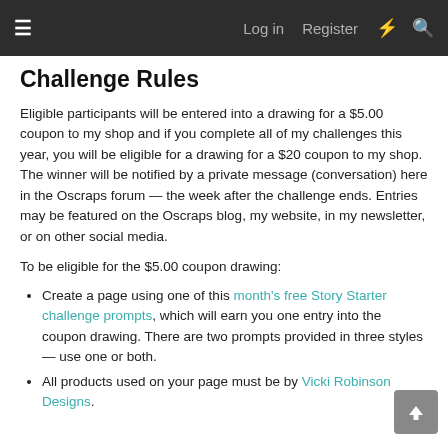≡   Log in   Register  ⚡  🔍
Challenge Rules
Eligible participants will be entered into a drawing for a $5.00 coupon to my shop and if you complete all of my challenges this year, you will be eligible for a drawing for a $20 coupon to my shop. The winner will be notified by a private message (conversation) here in the Oscraps forum — the week after the challenge ends. Entries may be featured on the Oscraps blog, my website, in my newsletter, or on other social media.
To be eligible for the $5.00 coupon drawing:
Create a page using one of this month's free Story Starter challenge prompts, which will earn you one entry into the coupon drawing. There are two prompts provided in three styles — use one or both.
All products used on your page must be by Vicki Robinson Designs.